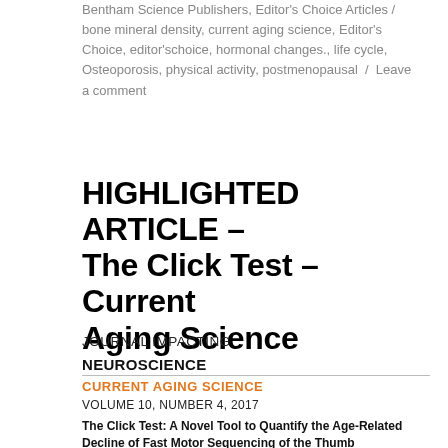Bentham Science Publishers, Editor's Choice Articles / bone mineral density, current aging science, Editor's Choice, editor'schoice, hormonal changes., life cycle, Osteoporosis, physical activity, postmenopausal / Leave a comment
HIGHLIGHTED ARTICLE – The Click Test – Current Aging Science
JOURNAL IMPACTING
NEUROSCIENCE
CURRENT AGING SCIENCE
VOLUME 10, NUMBER 4, 2017
The Click Test: A Novel Tool to Quantify the Age-Related Decline of Fast Motor Sequencing of the Thumb
Authors: Florian Bodranghien , Helene Mahé , Benjamin Baude, Mario Ubaldo Manto , Yves Busegnies, Stéphane Carrut , Christophe Hobas , Peter Marien , Giovanni de